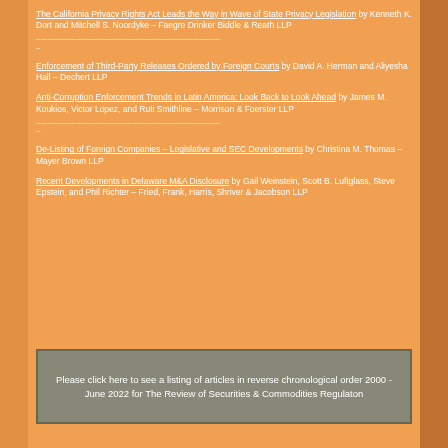The California Privacy Rights Act Leads the Way in Wave of State Privacy Legislation by Kenneth K. Dort and Mitchell S. Noordyke – Faegre Drinker Biddle & Reath LLP
--
Enforcement of Third-Party Releases Ordered by Foreign Courts by David A. Herman and Aliyesha Hall – Dechert LLP
Anti-Corruption Enforcement Trends in Latin America: Look Back to Look Ahead by James M. Koukios, Victor Lopez, and Ruti Smithline – Morrison & Foerster LLP
--
De-Listing of Foreign Companies – Legislative and SEC Developments by Christina M. Thomas – Mayer Brown LLP
Recent Developments in Delaware M&A Disclosure by Gail Weinstein, Scott B. Luftglass, Steve Epstein, and Phil Richter – Fried, Frank, Harris, Shriver & Jacobson LLP
Please click here to see a listing of articles in reverse chronological order 2000 - June 2022 for The Review of Securities & Commodities Regulaton